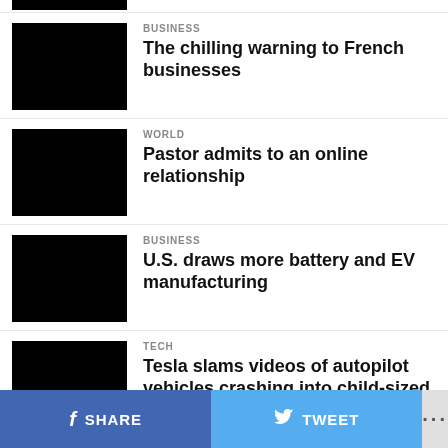[Figure (photo): Partial black image at top]
BUSINESS
The chilling warning to French businesses
[Figure (photo): Black thumbnail image]
WORLD
Pastor admits to an online relationship
[Figure (photo): Black thumbnail image]
BUSINESS
U.S. draws more battery and EV manufacturing
[Figure (photo): Black thumbnail image]
TECH
Tesla slams videos of autopilot vehicles crashing into child-sized mannequins
f SHARE  TWEET  ...